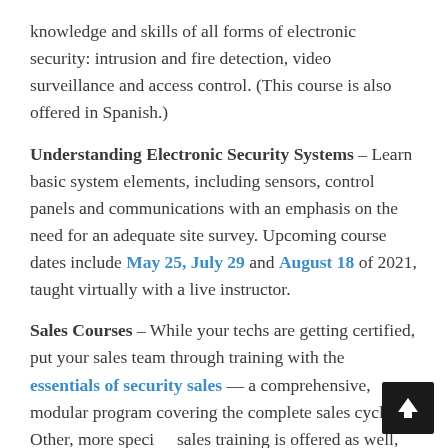knowledge and skills of all forms of electronic security: intrusion and fire detection, video surveillance and access control. (This course is also offered in Spanish.)
Understanding Electronic Security Systems – Learn basic system elements, including sensors, control panels and communications with an emphasis on the need for an adequate site survey. Upcoming course dates include May 25, July 29 and August 18 of 2021, taught virtually with a live instructor.
Sales Courses – While your techs are getting certified, put your sales team through training with the essentials of security sales — a comprehensive, modular program covering the complete sales cycle. Other, more speci sales training is offered as well, allowing your sales team